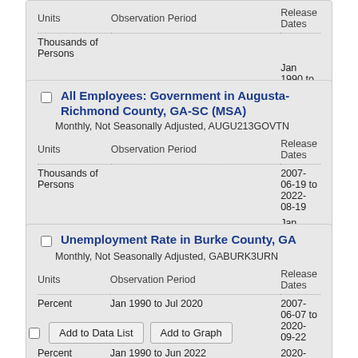| Units | Observation Period | Release Dates |
| --- | --- | --- |
| Thousands of Persons |  | 2007-06-19 to 2022-08-19 (partial, top of page) |
|  |  | Jan 1990 to Jul 2022 |
All Employees: Government in Augusta-Richmond County, GA-SC (MSA)
Monthly, Not Seasonally Adjusted, AUGU213GOVTN
| Units | Observation Period | Release Dates |
| --- | --- | --- |
| Thousands of Persons |  | 2007-06-19 to 2022-08-19 |
|  |  | Jan 1990 to Jul 2022 |
Unemployment Rate in Burke County, GA
Monthly, Not Seasonally Adjusted, GABURK3URN
| Units | Observation Period | Release Dates |
| --- | --- | --- |
| Percent | Jan 1990 to Jul 2020 | 2007-06-07 to 2020-09-22 |
| Percent | Jan 1990 to Jun 2022 | 2020-09-23 to 2022-08-03 |
Add to Data List | Add to Graph